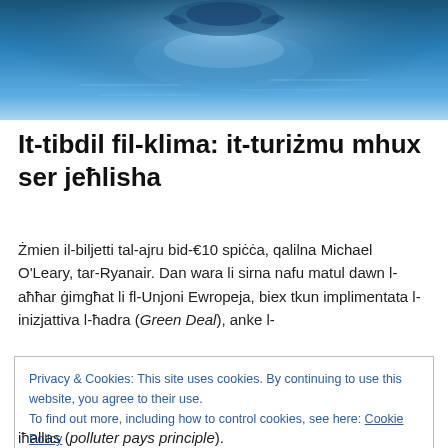[Figure (photo): Blue ocean water background image, partially cropped at top]
It-tibdil fil-klima: it-turiżmu mhux ser jeħlisha
Żmien il-biljetti tal-ajru bid-€10 spiċċa, qalilna Michael O'Leary, tar-Ryanair. Dan wara li sirna nafu matul dawn l-aħħar ġimgħat li fl-Unjoni Ewropeja, biex tkun implimentata l-inizjattiva l-ħadra (Green Deal), anke l-
Privacy & Cookies: This site uses cookies. By continuing to use this website, you agree to their use.
To find out more, including how to control cookies, see here: Cookie Policy
iħallas (polluter pays principle).